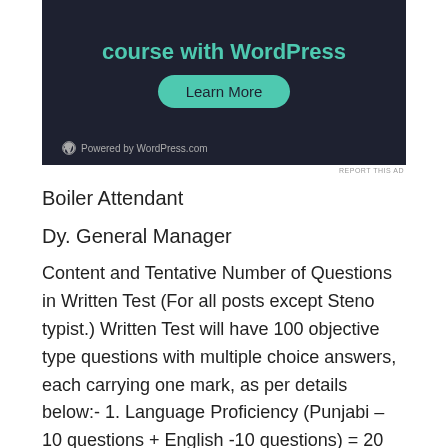[Figure (screenshot): Dark advertisement banner for a WordPress course with teal title text, a 'Learn More' rounded button, and 'Powered by WordPress.com' footer with WordPress logo]
REPORT THIS AD
Boiler Attendant
Dy. General Manager
Content and Tentative Number of Questions in Written Test (For all posts except Steno typist.) Written Test will have 100 objective type questions with multiple choice answers, each carrying one mark, as per details below:- 1. Language Proficiency (Punjabi – 10 questions + English -10 questions) = 20 questions 2. General Knowledge / awareness = 10 questions 3. Mathematical